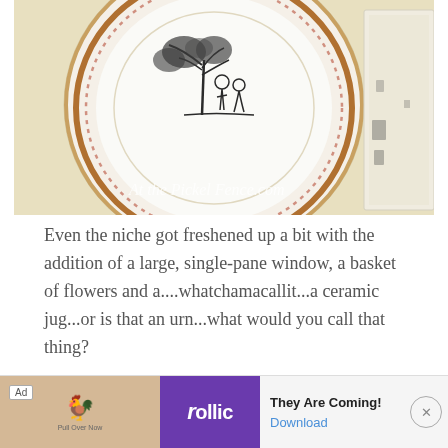[Figure (photo): A decorative ceramic plate with a toile pastoral scene (black ink sketch of figures under a tree) displayed on a pale yellow wall, with a distressed white-painted window frame visible to the right. Watermark text reads 'At the Pickel Fence.com'.]
Even the niche got freshened up a bit with the addition of a large, single-pane window, a basket of flowers and a....whatchamacallit...a ceramic jug...or is that an urn...what would you call that thing?
[Figure (screenshot): Advertisement banner. Ad label in top left. Left portion shows wooden background with a small chicken/bird icon and text 'Pull Over Now'. Middle portion shows purple background with white text 'follic'. Right portion shows text 'They Are Coming!' in bold and 'Download' as a blue link. Close button (X in circle) on far right.]